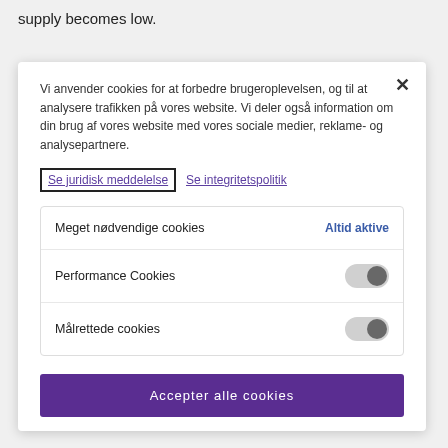supply becomes low.
Vi anvender cookies for at forbedre brugeroplevelsen, og til at analysere trafikken på vores website. Vi deler også information om din brug af vores website med vores sociale medier, reklame- og analysepartnere.
Se juridisk meddelelse   Se integritetspolitik
Meget nødvendige cookies
Altid aktive
Performance Cookies
Målrettede cookies
Accepter alle cookies